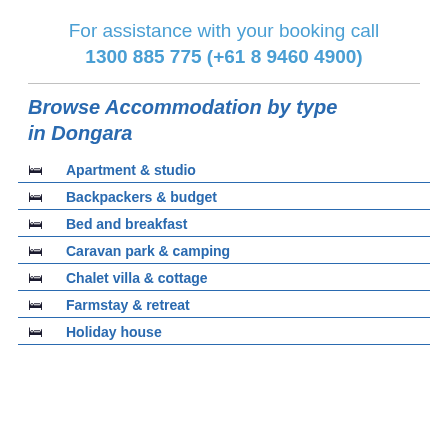For assistance with your booking call 1300 885 775 (+61 8 9460 4900)
Browse Accommodation by type in Dongara
Apartment & studio
Backpackers & budget
Bed and breakfast
Caravan park & camping
Chalet villa & cottage
Farmstay & retreat
Holiday house